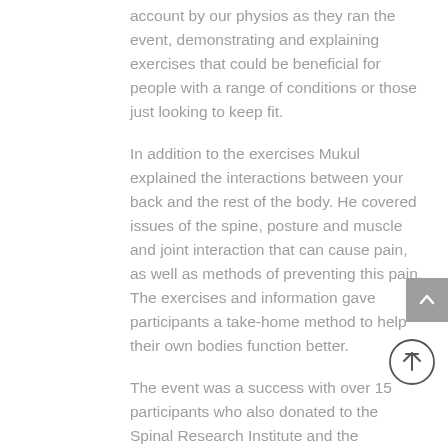account by our physios as they ran the event, demonstrating and explaining exercises that could be beneficial for people with a range of conditions or those just looking to keep fit.
In addition to the exercises Mukul explained the interactions between your back and the rest of the body. He covered issues of the spine, posture and muscle and joint interaction that can cause pain, as well as methods of preventing this pain. The exercises and information gave participants a take-home method to help their own bodies function better.
The event was a success with over 15 participants who also donated to the Spinal Research Institute and the South Australian Health and Medical Research Institute.
Yoga for Youth - 2021